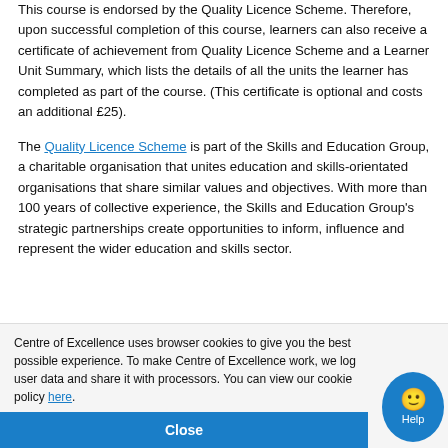This course is endorsed by the Quality Licence Scheme. Therefore, upon successful completion of this course, learners can also receive a certificate of achievement from Quality Licence Scheme and a Learner Unit Summary, which lists the details of all the units the learner has completed as part of the course. (This certificate is optional and costs an additional £25).
The Quality Licence Scheme is part of the Skills and Education Group, a charitable organisation that unites education and skills-orientated organisations that share similar values and objectives. With more than 100 years of collective experience, the Skills and Education Group's strategic partnerships create opportunities to inform, influence and represent the wider education and skills sector.
Centre of Excellence uses browser cookies to give you the best possible experience. To make Centre of Excellence work, we log user data and share it with processors. You can view our cookie policy here.